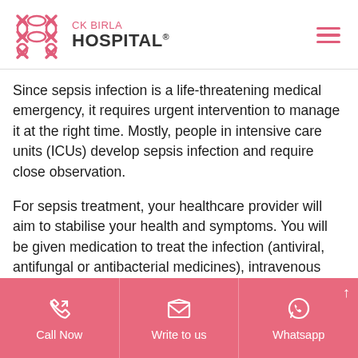CK BIRLA HOSPITAL®
Since sepsis infection is a life-threatening medical emergency, it requires urgent intervention to manage it at the right time. Mostly, people in intensive care units (ICUs) develop sepsis infection and require close observation.
For sepsis treatment, your healthcare provider will aim to stabilise your health and symptoms. You will be given medication to treat the infection (antiviral, antifungal or antibacterial medicines), intravenous fluids and vasopressors. You will also be given medicines to boost the response of the immune
Call Now | Write to us | Whatsapp